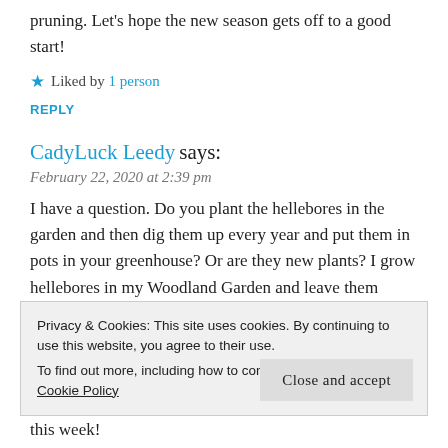pruning. Let's hope the new season gets off to a good start!
★ Liked by 1 person
REPLY
CadyLuck Leedy says:
February 22, 2020 at 2:39 pm
I have a question. Do you plant the hellebores in the garden and then dig them up every year and put them in pots in your greenhouse? Or are they new plants? I grow hellebores in my Woodland Garden and leave them there. They are huge and all over my Woodland Garden now. I love them because it is the one plant I know the deer wont't eat! The creek takes the seeds
Privacy & Cookies: This site uses cookies. By continuing to use this website, you agree to their use.
To find out more, including how to control cookies, see here:
Cookie Policy
Close and accept
this week!